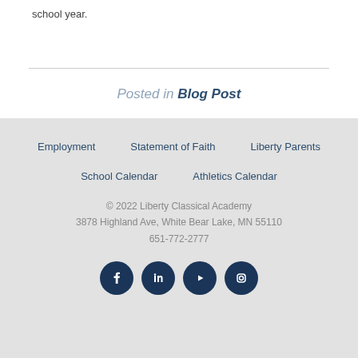school year.
Posted in Blog Post
Employment | Statement of Faith | Liberty Parents | School Calendar | Athletics Calendar | © 2022 Liberty Classical Academy | 3878 Highland Ave, White Bear Lake, MN 55110 | 651-772-2777